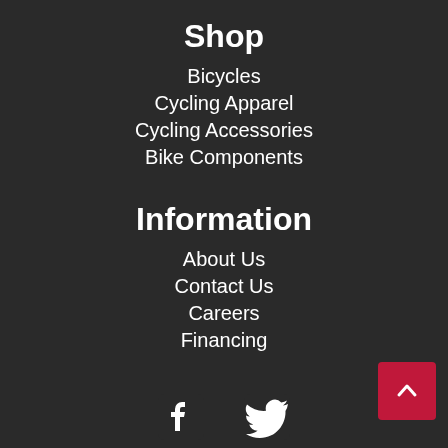Shop
Bicycles
Cycling Apparel
Cycling Accessories
Bike Components
Information
About Us
Contact Us
Careers
Financing
[Figure (illustration): Facebook and Twitter social media icons at the bottom of the page, plus a red back-to-top arrow button in the bottom right corner]